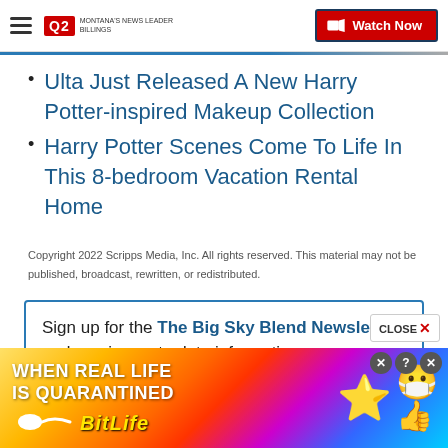Q2 Montana's News Leader | Watch Now
Ulta Just Released A New Harry Potter-inspired Makeup Collection
Harry Potter Scenes Come To Life In This 8-bedroom Vacation Rental Home
Copyright 2022 Scripps Media, Inc. All rights reserved. This material may not be published, broadcast, rewritten, or redistributed.
Sign up for the The Big Sky Blend Newsletter and receive up to date information.
[Figure (screenshot): Advertisement banner at bottom of page for BitLife game: 'WHEN REAL LIFE IS QUARANTINED' with rainbow gradient background, emoji characters, and BitLife logo in yellow text.]